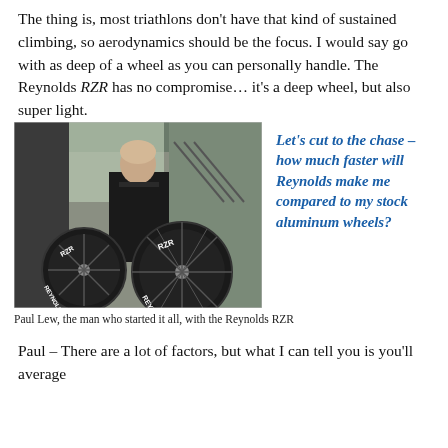The thing is, most triathlons don't have that kind of sustained climbing, so aerodynamics should be the focus. I would say go with as deep of a wheel as you can personally handle. The Reynolds RZR has no compromise… it's a deep wheel, but also super light.
[Figure (photo): Paul Lew standing with two Reynolds RZR wheels in a showroom or indoor setting]
Paul Lew, the man who started it all, with the Reynolds RZR
Let's cut to the chase – how much faster will Reynolds make me compared to my stock aluminum wheels?
Paul – There are a lot of factors, but what I can tell you is you'll average